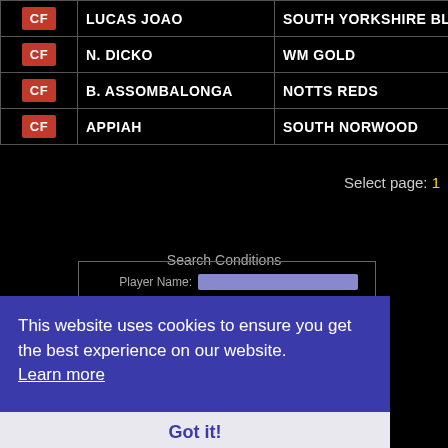| Position | Player Name | Club |
| --- | --- | --- |
| CF | LUCAS JOAO | SOUTH YORKSHIRE BLU... |
| CF | N. DICKO | WM GOLD |
| CF | B. ASSOMBALONGA | NOTTS REDS |
| CF | APPIAH | SOUTH NORWOOD |
Select page: 1
Search Conditions
Player Name: [input] Active Player Only: [input] Ability Settings: See filters Position Settings: See filters Ability Settings: See filters Player Index: See filters League Settings: Get filters
This website uses cookies to ensure you get the best experience on our website. Learn more
Got it!